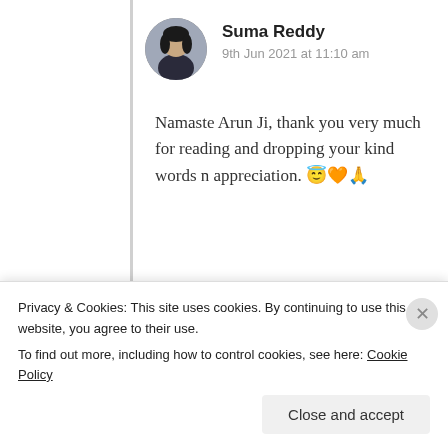[Figure (photo): Circular avatar photo of Suma Reddy, a woman with dark hair]
Suma Reddy
9th Jun 2021 at 11:10 am
Namaste Arun Ji, thank you very much for reading and dropping your kind words n appreciation. 😇🧡🙏
★ Liked by 1 person
Log in to Reply
Advertisements
Privacy & Cookies: This site uses cookies. By continuing to use this website, you agree to their use.
To find out more, including how to control cookies, see here: Cookie Policy
Close and accept